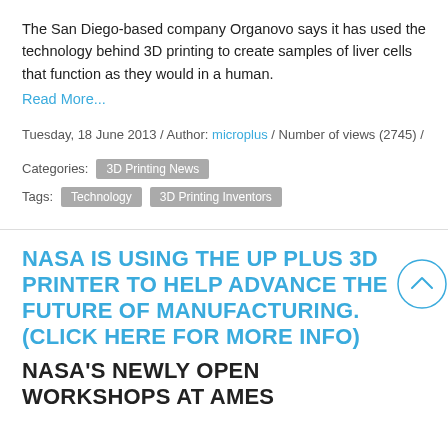The San Diego-based company Organovo says it has used the technology behind 3D printing to create samples of liver cells that function as they would in a human.
Read More...
Tuesday, 18 June 2013 / Author: microplus / Number of views (2745) /
Categories: 3D Printing News
Tags: Technology  3D Printing Inventors
NASA IS USING THE UP PLUS 3D PRINTER TO HELP ADVANCE THE FUTURE OF MANUFACTURING. (CLICK HERE FOR MORE INFO)
NASA'S NEWLY OPEN WORKSHOPS AT AMES